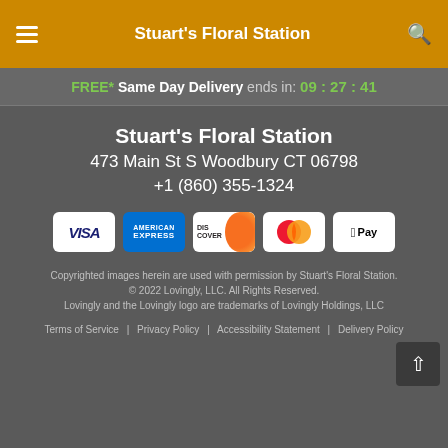Stuart's Floral Station
FREE* Same Day Delivery ends in: 09:27:41
Stuart's Floral Station
473 Main St S Woodbury CT 06798
+1 (860) 355-1324
[Figure (illustration): Payment method icons: Visa, American Express, Discover, Mastercard, Apple Pay]
Copyrighted images herein are used with permission by Stuart's Floral Station. © 2022 Lovingly, LLC. All Rights Reserved. Lovingly and the Lovingly logo are trademarks of Lovingly Holdings, LLC
Terms of Service | Privacy Policy | Accessibility Statement | Delivery Policy